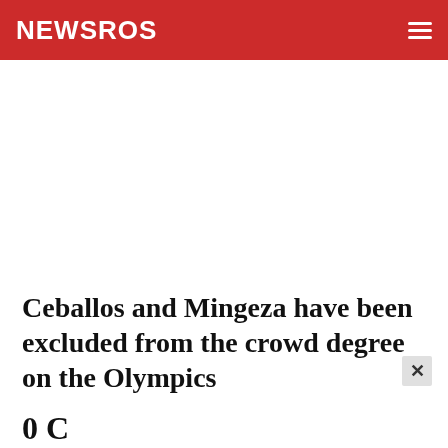NEWSROS
Ceballos and Mingeza have been excluded from the crowd degree on the Olympics
0 Comments